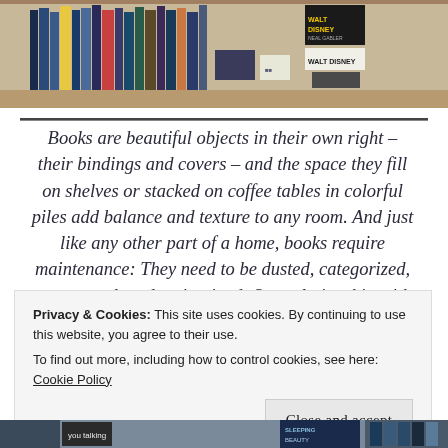[Figure (photo): Photo of a bookshelf with many books including Walt Disney books visible on the right side]
Books are beautiful objects in their own right – their bindings and covers – and the space they fill on shelves or stacked on coffee tables in colorful piles add balance and texture to any room. And just like any other part of a home, books require maintenance: They need to be dusted, categorized, rearranged, and maintained. Our relationship with them is dynamic and ever changing.
Privacy & Cookies: This site uses cookies. By continuing to use this website, you agree to their use.
To find out more, including how to control cookies, see here: Cookie Policy
[Figure (photo): Partial view of book spines on shelves at the bottom of the page]